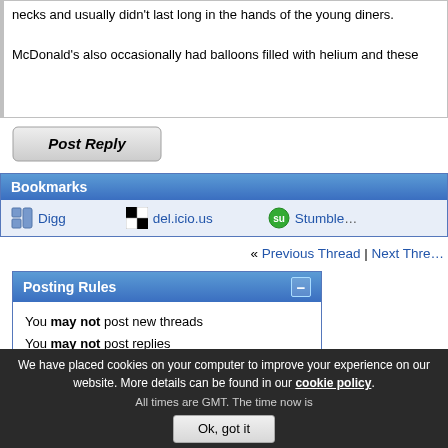necks and usually didn't last long in the hands of the young diners.

McDonald's also occasionally had balloons filled with helium and these
[Figure (screenshot): Post Reply button - rounded rectangle button with italic bold text]
Bookmarks
Digg | del.icio.us | StumbleUpon
« Previous Thread | Next Thread
Posting Rules
You may not post new threads
You may not post replies
You may not post attachments
You may not edit your posts

BB code is On
Smilies are On
[IMG] code is On
HTML code is Off

Forum Rules
We have placed cookies on your computer to improve your experience on our website. More details can be found in our cookie policy.
All times are GMT. The time now is
Ok, got it